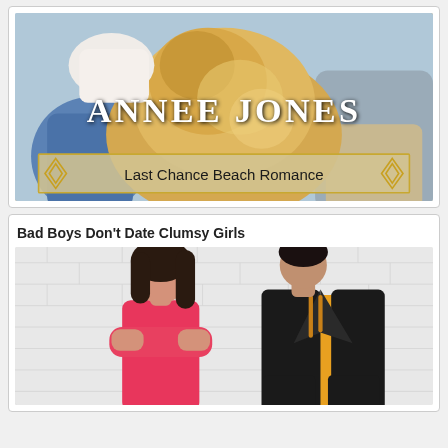[Figure (illustration): Book cover for 'Last Chance Beach Romance' series by Annee Jones. Shows people and a golden retriever dog, with the author name in large serif white text and a gold-bordered series banner at the bottom.]
Bad Boys Don't Date Clumsy Girls
[Figure (illustration): Book cover showing a young woman in a red top with arms crossed and a man in a black leather jacket over a yellow hoodie, standing against a white brick wall background.]